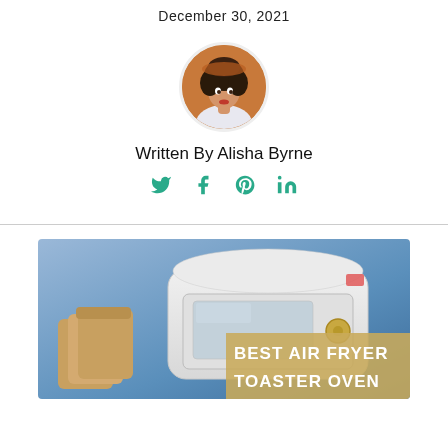December 30, 2021
[Figure (photo): Circular author portrait photo of Alisha Byrne — young woman with curly dark hair, wearing a white top, warm orange/brown background]
Written By Alisha Byrne
Social share icons: Twitter, Facebook, Pinterest, LinkedIn
[Figure (photo): Product photo of a white air fryer toaster oven against a blue background with sliced bread on the left. Overlay text reads: BEST AIR FRYER TOASTER OVEN]